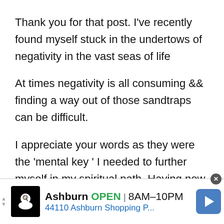Thank you for that post. I've recently found myself stuck in the undertows of negativity in the vast seas of life
At times negativity is all consuming && finding a way out of those sandtraps can be difficult.
I appreciate your words as they were the 'mental key ' I needed to further myself in my spiritual path. Having now a higher stands on my problems I can reflect && take new
[Figure (screenshot): Advertisement banner for a local restaurant in Ashburn. Shows a chef logo icon, text 'Ashburn OPEN 8AM-10PM' and address '44110 Ashburn Shopping P...' with a blue navigation arrow icon. Has a close (x) button and expand arrows.]